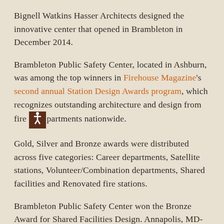Bignell Watkins Hasser Architects designed the innovative center that opened in Brambleton in December 2014.
Brambleton Public Safety Center, located in Ashburn, was among the top winners in Firehouse Magazine's second annual Station Design Awards program, which recognizes outstanding architecture and design from fire departments nationwide.
Gold, Silver and Bronze awards were distributed across five categories: Career departments, Satellite stations, Volunteer/Combination departments, Shared facilities and Renovated fire stations.
Brambleton Public Safety Center won the Bronze Award for Shared Facilities Design. Annapolis, MD-based Bignell Watkins Hasser Architects designed the state-of-the-art